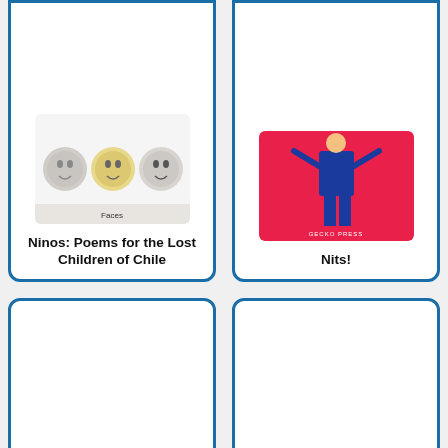[Figure (illustration): Book cover for 'Ninos: Poems for the Lost Children of Chile' showing illustrated faces]
Ninos: Poems for the Lost Children of Chile
[Figure (illustration): Book cover for 'Nits!' showing cartoon figure on pink background]
Nits!
[Figure (illustration): Book cover for 'No Heroes' by Anna Seidl showing a vending machine with a cat silhouette]
No Heroes
[Figure (illustration): Book cover for 'No Kiss for Mother' by Tomi Ungerer published by Phaidon, showing a cat at a dining table on orange background]
No Kiss for Mother
[Figure (illustration): Partially visible book cover at bottom left]
[Figure (illustration): Partially visible book cover at bottom right]